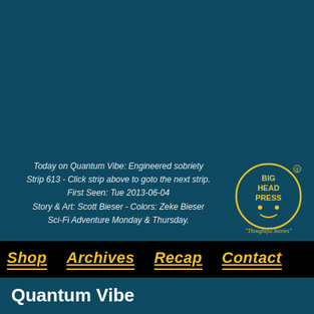[Figure (illustration): Large teal/dark blue area representing a comic strip image area (Quantum Vibe strip 613)]
Today on Quantum Vibe: Engineered sobriety
Strip 613 - Click strip above to goto the next strip.
First Seen: Tue 2013-06-04
Story & Art: Scott Bieser - Colors: Zeke Bieser
Sci-Fi Adventure Monday & Thursday.
[Figure (logo): Big Head Press circular logo with text 'BIG HEAD PRESS' and tagline 'Thoughtful Stories']
Shop   Archives   Recap   Contact
Quantum Vibe
A thousand years in the future,